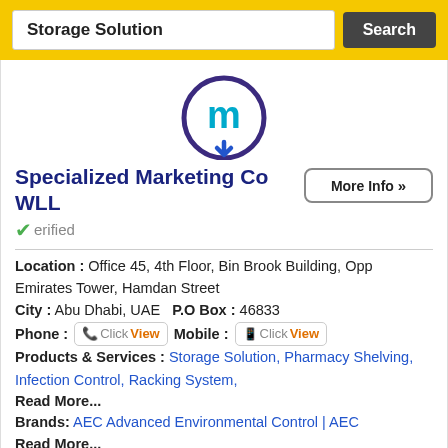Storage Solution  Search
[Figure (logo): Circular logo with stylized letter 'm' and blue arrow pointing down, in purple/blue outline circle]
Specialized Marketing Co WLL  Verified
Location : Office 45, 4th Floor, Bin Brook Building, Opp Emirates Tower, Hamdan Street
City : Abu Dhabi, UAE   P.O Box : 46833
Phone : ClickView   Mobile : ClickView
Products & Services : Storage Solution, Pharmacy Shelving, Infection Control, Racking System,
Read More...
Brands: AEC Advanced Environmental Control | AEC
Read More...
Website   Map   Images